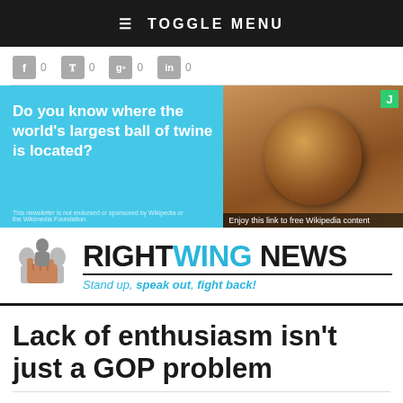≡ TOGGLE MENU
[Figure (screenshot): Social sharing buttons: Facebook (f) 0, Twitter (bird) 0, Google+ (g+) 0, LinkedIn (in) 0]
[Figure (infographic): Advertisement banner - Do you know where the world's largest ball of twine is located? with image of large ball of twine. Enjoy this link to free Wikipedia content.]
[Figure (logo): Right Wing News logo with fist icon and silhouettes. RIGHTWING NEWS. Stand up, speak out, fight back!]
Lack of enthusiasm isn't just a GOP problem